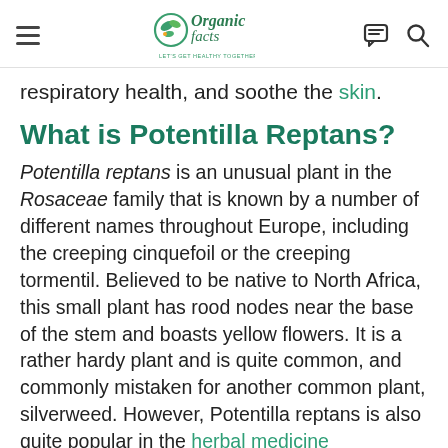Organic Facts — Let's Get Healthy Together
respiratory health, and soothe the skin.
What is Potentilla Reptans?
Potentilla reptans is an unusual plant in the Rosaceae family that is known by a number of different names throughout Europe, including the creeping cinquefoil or the creeping tormentil. Believed to be native to North Africa, this small plant has rood nodes near the base of the stem and boasts yellow flowers. It is a rather hardy plant and is quite common, and commonly mistaken for another common plant, silverweed. However, Potentilla reptans is also quite popular in the herbal medicine community, as it has been used for